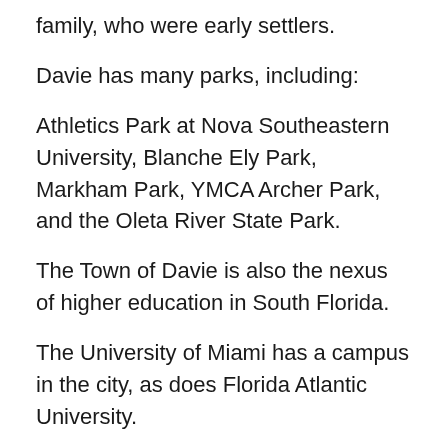family, who were early settlers.
Davie has many parks, including:
Athletics Park at Nova Southeastern University, Blanche Ely Park, Markham Park, YMCA Archer Park, and the Oleta River State Park.
The Town of Davie is also the nexus of higher education in South Florida.
The University of Miami has a campus in the city, as does Florida Atlantic University.
Nearby Nova Southeastern University recently completed a new medical school and hospital on the border with Weston.